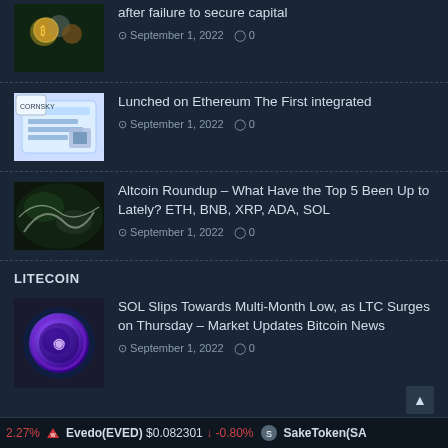[Figure (photo): Cryptocurrency coins on dark background]
after failure to secure capital
September 1, 2022  0
[Figure (photo): Cornsky document on Ethereum, blue and white graphic]
Lunched on Ethereum The First integrated
September 1, 2022  0
[Figure (photo): Abstract green/white water or mineral image]
Altcoin Roundup – What Have the Top 5 Been Up to Lately? ETH, BNB, XRP, ADA, SOL
September 1, 2022  0
LITECOIN
[Figure (photo): SOL Solana coin purple/blue sphere on dark background]
SOL Slips Towards Multi-Month Low, as LTC Surges on Thursday – Market Updates Bitcoin News
September 1, 2022  0
2.27%   Evedo(EVED) $0.082301  -0.80%   SakeToken(SA